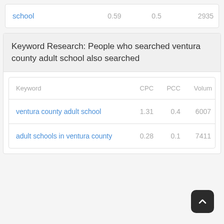| Keyword | CPC | PCC | Volume |
| --- | --- | --- | --- |
| school | 0.59 | 0.5 | 2935 |
Keyword Research: People who searched ventura county adult school also searched
| Keyword | CPC | PCC | Volum |
| --- | --- | --- | --- |
| ventura county adult school | 1.31 | 0.4 | 6007 |
| adult schools in ventura county | 0.28 | 0.1 | 7411 |